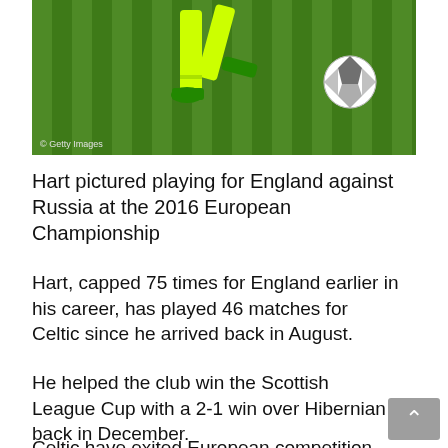[Figure (photo): A footballer in yellow/green kit and boots kicking a ball on a grass pitch. Getty Images watermark visible in bottom left.]
Hart pictured playing for England against Russia at the 2016 European Championship
Hart, capped 75 times for England earlier in his career, has played 46 matches for Celtic since he arrived back in August.
He helped the club win the Scottish League Cup with a 2-1 win over Hibernian back in December.
Celtic have exited European competition but sit three points ahead of Old Firm rivals